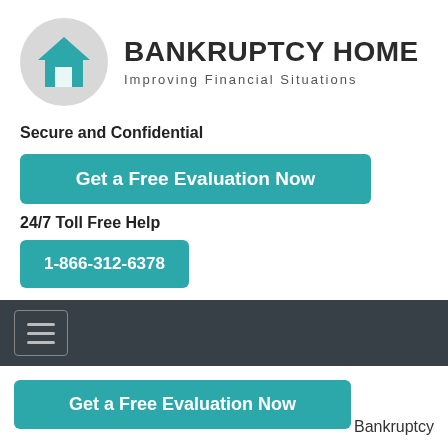[Figure (logo): Bankruptcy Home logo: teal house icon inside a gray circle, with bold text BANKRUPTCY HOME and tagline Improving Financial Situations]
Secure and Confidential
Get a Free Evaluation Now
24/7 Toll Free Help
1-866-312-6378
[Figure (screenshot): Dark navigation bar with hamburger menu icon]
Get a Free Evaluation Now
Bankruptcy